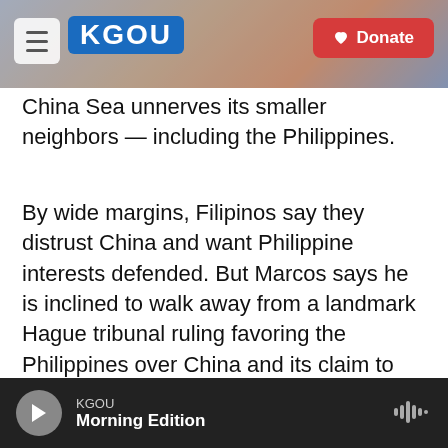KGOU | Donate
China Sea unnerves its smaller neighbors — including the Philippines.
By wide margins, Filipinos say they distrust China and want Philippine interests defended. But Marcos says he is inclined to walk away from a landmark Hague tribunal ruling favoring the Philippines over China and its claim to much of the South China Sea. This position sets him apart from his four main rivals, who are far more hard-line on China.
Scalice says the Philippine business community
KGOU  Morning Edition